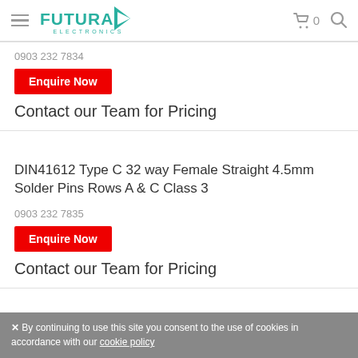Futura Electronics - Navigation header with logo, cart, and search
0903 232 7834
Enquire Now
Contact our Team for Pricing
DIN41612 Type C 32 way Female Straight 4.5mm Solder Pins Rows A & C Class 3
0903 232 7835
Enquire Now
Contact our Team for Pricing
✕ By continuing to use this site you consent to the use of cookies in accordance with our cookie policy